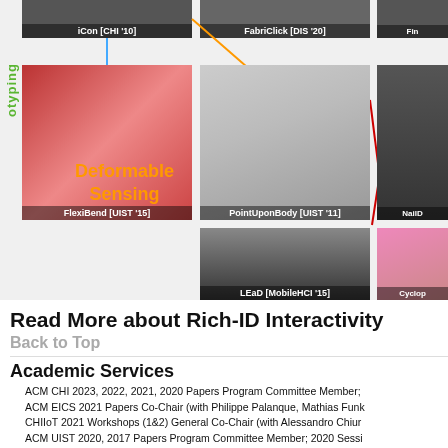[Figure (screenshot): Top section showing a research project grid with labeled images: iCon [CHI '10], FabriClick [DIS '20], FlexiBend [UIST '15], PointUponBody [UIST '11], NailD…, LEaD [MobileHCI '15], Cyclop…, with Deformable Sensing label in orange and otyping vertical label in green, connected by colored lines.]
Read More about Rich-ID Interactivity
Back to Top
Academic Services
ACM CHI 2023, 2022, 2021, 2020 Papers Program Committee Member;
ACM EICS 2021 Papers Co-Chair (with Philippe Palanque, Mathias Funk
CHIIoT 2021 Workshops (1&2) General Co-Chair (with Alessandro Chiur
ACM UIST 2020, 2017 Papers Program Committee Member; 2020 Sessi
ACM DIS 2020 Demos Co-Chair (with Holly Robbins)
ACM MobileHCI 2019 Posters Co-Chair (with Daisuko Sakamoto), Sessi